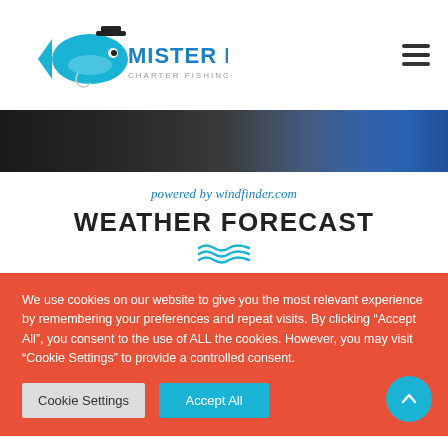[Figure (logo): Mister Fish logo with fish wearing a top hat and blue text 'MISTER FISH']
[Figure (photo): Dark hero banner image showing a person in dark jacket with blue visible on right side]
powered by windfinder.com
WEATHER FORECAST
[Figure (illustration): Three blue wave lines decorative icon]
We use cookies on our website to give you the most relevant experience by remembering your preferences and repeat visits. By clicking “Accept All”, you consent to the use of ALL the cookies. However, you may visit “Cookie Settings” to provide a controlled consent.
Cookie Settings
Accept All